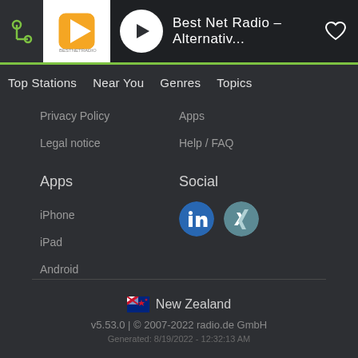Best Net Radio - Alternativ...
Top Stations
Near You
Genres
Topics
Privacy Policy
Apps
Legal notice
Help / FAQ
Apps
Social
iPhone
iPad
Android
[Figure (logo): LinkedIn and XING social media icons]
New Zealand
v5.53.0 | © 2007-2022 radio.de GmbH
Generated: 8/19/2022 - 12:32:13 AM